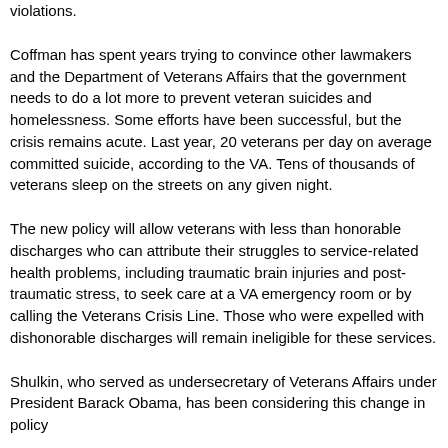violations.
Coffman has spent years trying to convince other lawmakers and the Department of Veterans Affairs that the government needs to do a lot more to prevent veteran suicides and homelessness. Some efforts have been successful, but the crisis remains acute. Last year, 20 veterans per day on average committed suicide, according to the VA. Tens of thousands of veterans sleep on the streets on any given night.
The new policy will allow veterans with less than honorable discharges who can attribute their struggles to service-related health problems, including traumatic brain injuries and post-traumatic stress, to seek care at a VA emergency room or by calling the Veterans Crisis Line. Those who were expelled with dishonorable discharges will remain ineligible for these services.
Shulkin, who served as undersecretary of Veterans Affairs under President Barack Obama, has been considering this change in policy